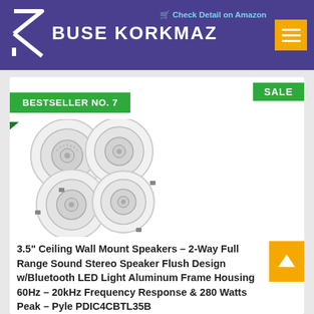BUSE KORKMAZ
Check Detail on Amazon
BESTSELLER NO. 7
SALE
[Figure (photo): Four round white ceiling/wall mount speakers arranged in a cluster, showing front face with grille patterns, aluminum frame housing]
3.5" Ceiling Wall Mount Speakers - 2-Way Full Range Sound Stereo Speaker Flush Design w/Bluetooth LED Light Aluminum Frame Housing 60Hz - 20kHz Frequency Response & 280 Watts Peak - Pyle PDIC4CBTL35B